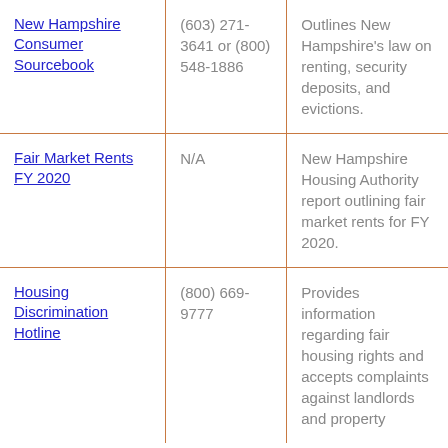| Resource | Phone | Description |
| --- | --- | --- |
| New Hampshire Consumer Sourcebook | (603) 271-3641 or (800) 548-1886 | Outlines New Hampshire's law on renting, security deposits, and evictions. |
| Fair Market Rents FY 2020 | N/A | New Hampshire Housing Authority report outlining fair market rents for FY 2020. |
| Housing Discrimination Hotline | (800) 669-9777 | Provides information regarding fair housing rights and accepts complaints against landlords and property |